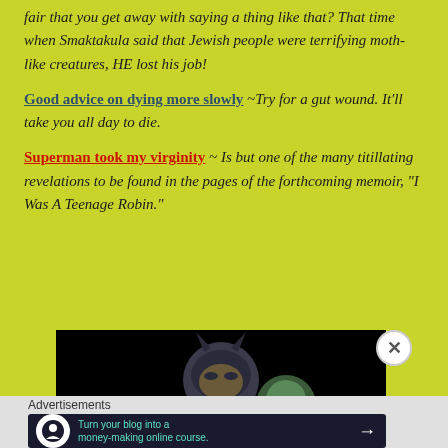fair that you get away with saying a thing like that? That time when Smaktakula said that Jewish people were terrifying moth-like creatures, HE lost his job!
Good advice on dying more slowly ~Try for a gut wound. It'll take you all day to die.
Superman took my virginity ~ Is but one of the many titillating revelations to be found in the pages of the forthcoming memoir, “I Was A Teenage Robin.”
[Figure (photo): Batman comic art image showing Batman on dark background]
Advertisements
[Figure (screenshot): Advertisement banner: Turn your blog into a money-making online course.]